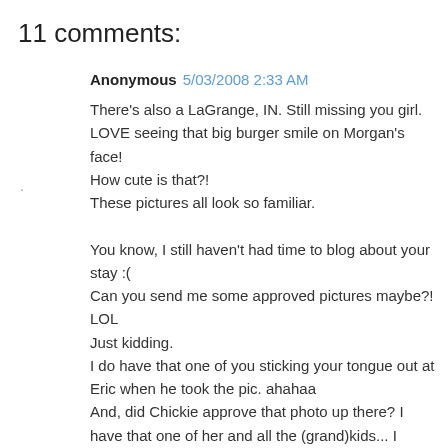11 comments:
Anonymous 5/03/2008 2:33 AM
There's also a LaGrange, IN. Still missing you girl. LOVE seeing that big burger smile on Morgan's face!
How cute is that?!
These pictures all look so familiar.

You know, I still haven't had time to blog about your stay :(
Can you send me some approved pictures maybe?! LOL
Just kidding.
I do have that one of you sticking your tongue out at Eric when he took the pic. ahahaa
And, did Chickie approve that photo up there? I have that one of her and all the (grand)kids... I guess I will have to blur her out if she doesn't like it. I'm not going to not post that pic of all of our lovely children! haha
Looking forward to more pics and more memories!
Love, J
oh... and I am so glad Morgan found her lost animals. You tell her I was praying you guys would find them :))